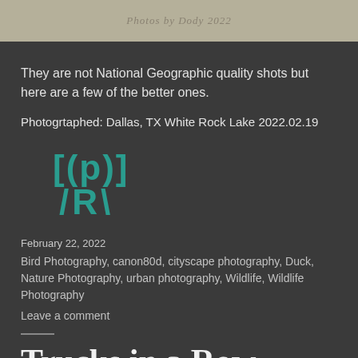[Figure (photo): Tan/beige banner with watermark text 'Photos by Dody 2022' in script font]
They are not National Geographic quality shots but here are a few of the better ones.
Photogrtaphed: Dallas, TX White Rock Lake 2022.02.19
[Figure (logo): Teal/cyan colored logo showing [(p)] above /R\ symbol]
February 22, 2022
Bird Photography, canon80d, cityscape photography, Duck, Nature Photography, urban photography, Wildlife, Wildlife Photography
Leave a comment
Trucks in a Row